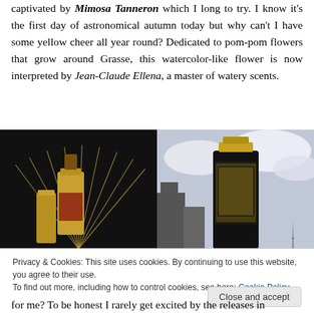captivated by Mimosa Tanneron which I long to try. I know it's the first day of astronomical autumn today but why can't I have some yellow cheer all year round? Dedicated to pom-pom flowers that grow around Grasse, this watercolor-like flower is now interpreted by Jean-Claude Ellena, a master of watery scents.
[Figure (photo): Two perfume product photos side by side. Left: dark background with gold luxury perfume bottle with fan-shaped elements. Right: dark perfume bottle with city scene imagery against cloudy sky with Eiffel Tower visible.]
Privacy & Cookies: This site uses cookies. By continuing to use this website, you agree to their use.
To find out more, including how to control cookies, see here: Cookie Policy
for me? To be honest I rarely get excited by the releases in